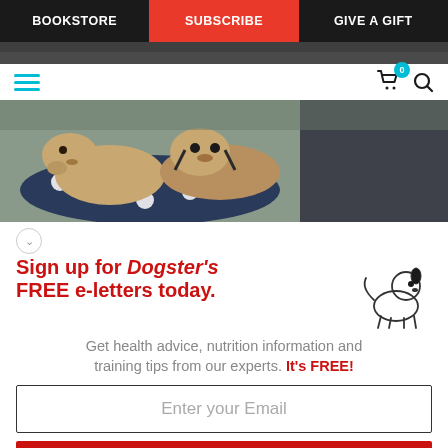BOOKSTORE | SUBSCRIBE | GIVE A GIFT
[Figure (photo): Top strip of a dog photo partially visible]
[Figure (photo): Hero banner photo showing puppies lying on a polka-dot blanket/cushion]
Sign up for Dogster's FREE e-letters today.
Get health advice, nutrition information and training tips from our experts. It's FREE!
Enter your Email
YES! SIGN ME UP